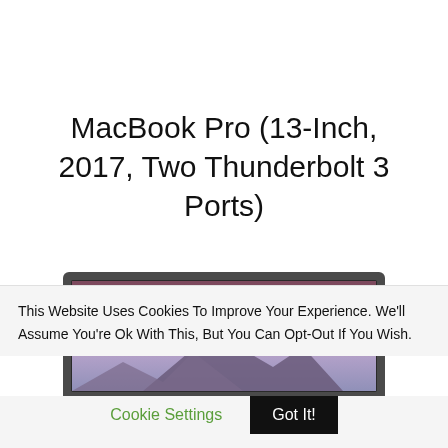MacBook Pro (13-Inch, 2017, Two Thunderbolt 3 Ports)
[Figure (screenshot): Partial screenshot of a MacBook Pro laptop showing the top portion of the display with a macOS Sierra desert/mountain wallpaper (pink/purple sky with a mountain silhouette), in a dark aluminum bezel frame.]
This Website Uses Cookies To Improve Your Experience. We'll Assume You're Ok With This, But You Can Opt-Out If You Wish.
Cookie Settings  Got It!